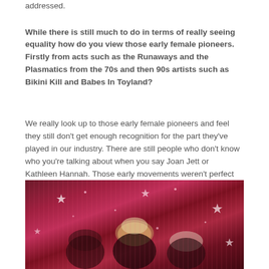addressed.
While there is still much to do in terms of really seeing equality how do you view those early female pioneers. Firstly from acts such as the Runaways and the Plasmatics from the 70s and then 90s artists such as Bikini Kill and Babes In Toyland?
We really look up to those early female pioneers and feel they still don't get enough recognition for the part they've played in our industry. There are still people who don't know who you're talking about when you say Joan Jett or Kathleen Hannah. Those early movements weren't perfect but it was a strong start and without their influence, we wouldn't be doing what we're doing today.
[Figure (photo): Three people posed in front of a sparkly pink/magenta curtain backdrop with silver star decorations. The middle person has blonde hair and heavy eye makeup, wearing dark lipstick.]